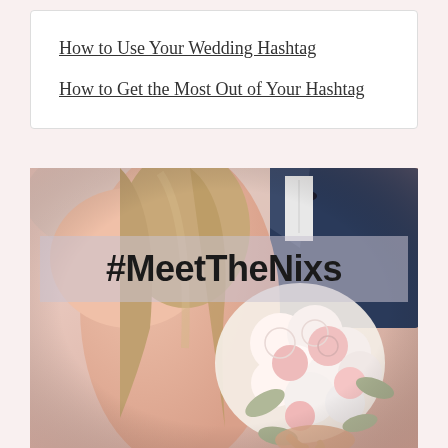How to Use Your Wedding Hashtag
How to Get the Most Out of Your Hashtag
[Figure (photo): Wedding couple photo — bride seen from behind with floral bouquet of pink and white roses, groom in dark suit and bow tie, with semi-transparent overlay banner showing '#MeetTheNixs' hashtag text]